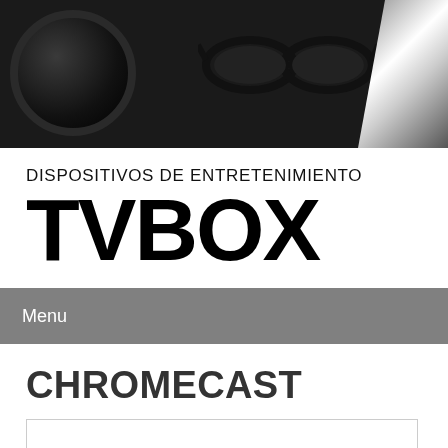[Figure (photo): Dark background hero image with camera lens on the left and sunglasses in the center, white diagonal stripe on the right side]
DISPOSITIVOS DE ENTRETENIMIENTO
TVBOX
Menu
CHROMECAST